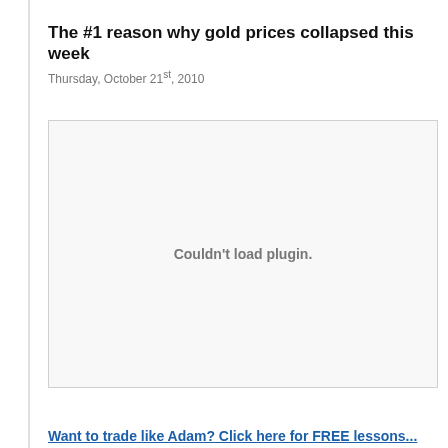The #1 reason why gold prices collapsed this week
Thursday, October 21st, 2010
[Figure (other): Embedded plugin area — plugin failed to load, showing 'Couldn't load plugin.' message in center of a blank content area]
Want to trade like Adam? Click here for FREE lessons...